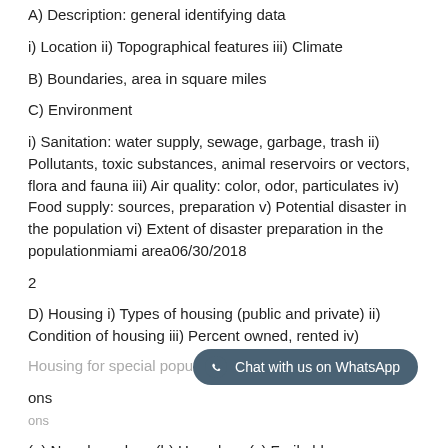A) Description: general identifying data
i) Location ii) Topographical features iii) Climate
B) Boundaries, area in square miles
C) Environment
i) Sanitation: water supply, sewage, garbage, trash ii) Pollutants, toxic substances, animal reservoirs or vectors, flora and fauna iii) Air quality: color, odor, particulates iv) Food supply: sources, preparation v) Potential disaster in the population vi) Extent of disaster preparation in the populationmiami area06/30/2018
2
D) Housing i) Types of housing (public and private) ii) Condition of housing iii) Percent owned, rented iv) Housing for special populations
(a) Near homeless (b) Homeless (c) Frail elders